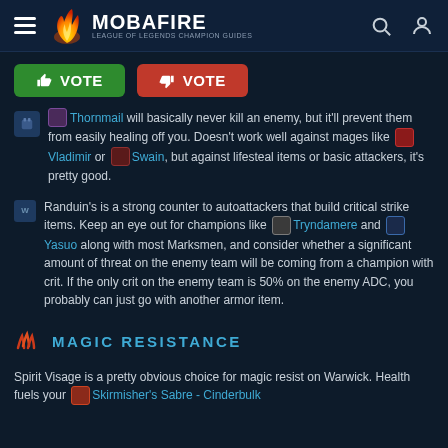MOBAFIRE — LEAGUE OF LEGENDS CHAMPION GUIDES
VOTE (up) / VOTE (down) buttons
Thornmail will basically never kill an enemy, but it'll prevent them from easily healing off you. Doesn't work well against mages like Vladimir or Swain, but against lifesteal items or basic attackers, it's pretty good.
Randuin's is a strong counter to autoattackers that build critical strike items. Keep an eye out for champions like Tryndamere and Yasuo along with most Marksmen, and consider whether a significant amount of threat on the enemy team will be coming from a champion with crit. If the only crit on the enemy team is 50% on the enemy ADC, you probably can just go with another armor item.
MAGIC RESISTANCE
Spirit Visage is a pretty obvious choice for magic resist on Warwick. Health fuels your Skirmisher's Sabre - Cinderbulk